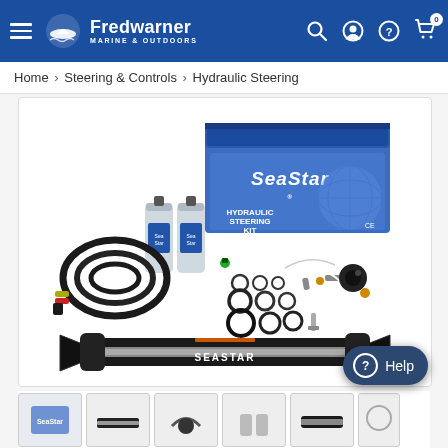Fredwarner Marine & Outdoors
Home › Steering & Controls › Hydraulic Steering
[Figure (photo): SeaStar Hydraulic Steering Kit product photo showing the complete kit contents including the blue SeaStar branded box, hydraulic cylinder/helm pump (black), hydraulic hose, two bottles of hydraulic fluid, and various fittings and hardware components laid out on white background]
[Figure (photo): Thumbnail gallery showing 5 smaller product images of the SeaStar Hydraulic Steering Kit from various angles]